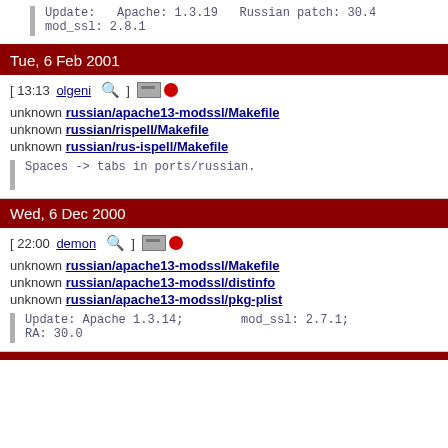Update:   Apache: 1.3.19   Russian patch: 30.4
mod_ssl: 2.8.1
Tue, 6 Feb 2001
[ 13:13 olgeni 🔍 ] [card] [dot]
unknown russian/apache13-modssl/Makefile
unknown russian/rispell/Makefile
unknown russian/rus-ispell/Makefile
Spaces -> tabs in ports/russian.
Wed, 6 Dec 2000
[ 22:00 demon 🔍 ] [card] [dot]
unknown russian/apache13-modssl/Makefile
unknown russian/apache13-modssl/distinfo
unknown russian/apache13-modssl/pkg-plist
Update: Apache 1.3.14;        mod_ssl: 2.7.1;
RA: 30.0